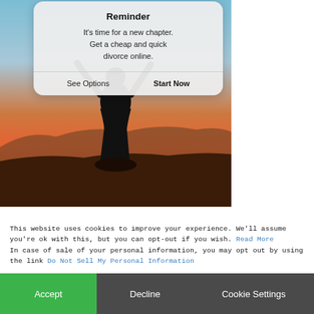[Figure (photo): Background photo of a person silhouetted against a sunset sky, with warm orange and red tones. A mobile phone notification popup card is overlaid on the image.]
Reminder
It's time for a new chapter. Get a cheap and quick divorce online.
See Options    Start Now
This website uses cookies to improve your experience. We'll assume you're ok with this, but you can opt-out if you wish. Read More In case of sale of your personal information, you may opt out by using the link Do Not Sell My Personal Information
Accept
Decline
Cookie Settings